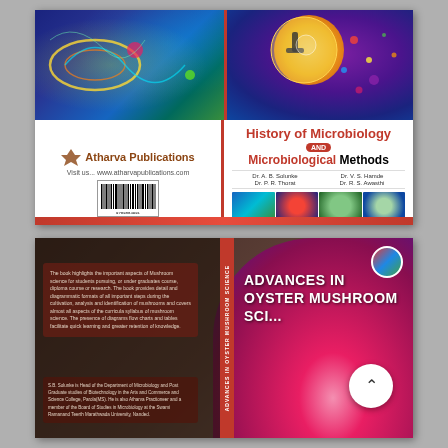[Figure (photo): Book cover: 'History of Microbiology AND Microbiological Methods'. Top half shows colorful microscopy/microbiology images split into two panels separated by a red spine line. Bottom half shows: left side has Atharva Publications logo with barcode; right side shows book title in red and black, authors (Dr. A. B. Solunke, Dr. P. R. Thorat, Dr. V. S. Hamde, Dr. R. S. Awasthi), and four microscopy thumbnail images.]
[Figure (photo): Book cover: 'ADVANCES IN OYSTER MUSHROOM SCIENCE'. Background shows dark brown/mushroom texture. Left panel has dark red description box with text about mushroom science and author bio. Red spine with vertical text. Right panel shows title text in bold white letters and close-up photo of pink/orange oyster mushrooms at bottom right. Logo badge at top right. Scroll-up button overlay visible.]